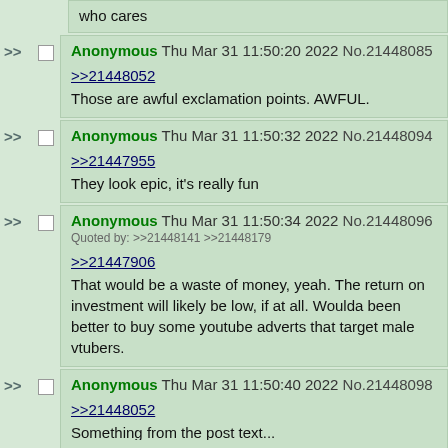who cares
Anonymous Thu Mar 31 11:50:20 2022 No.21448085
>>21448052
Those are awful exclamation points. AWFUL.
Anonymous Thu Mar 31 11:50:32 2022 No.21448094
>>21447955
They look epic, it's really fun
Anonymous Thu Mar 31 11:50:34 2022 No.21448096
Quoted by: >>21448141 >>21448179
>>21447906
That would be a waste of money, yeah. The return on investment will likely be low, if at all. Woulda been better to buy some youtube adverts that target male vtubers.
Anonymous Thu Mar 31 11:50:40 2022 No.21448098
>>21448052